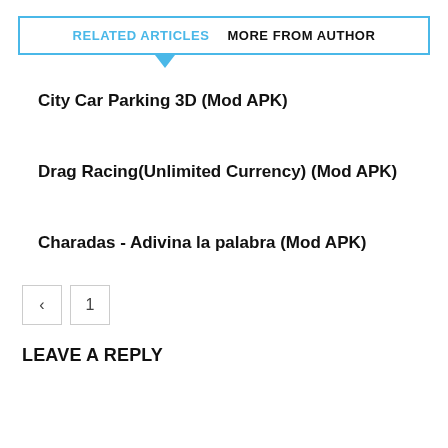RELATED ARTICLES   MORE FROM AUTHOR
City Car Parking 3D (Mod APK)
Drag Racing(Unlimited Currency) (Mod APK)
Charadas - Adivina la palabra (Mod APK)
LEAVE A REPLY